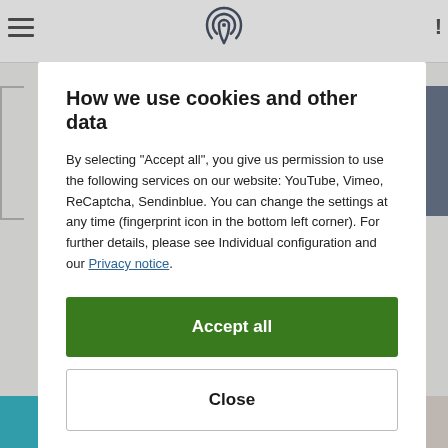[Figure (screenshot): Background website page with navigation bar, hamburger menu icon, fingerprint icon at top center, and a teal/orange product image at the bottom]
How we use cookies and other data
By selecting "Accept all", you give us permission to use the following services on our website: YouTube, Vimeo, ReCaptcha, Sendinblue. You can change the settings at any time (fingerprint icon in the bottom left corner). For further details, please see Individual configuration and our Privacy notice.
Accept all
Close
Configuration